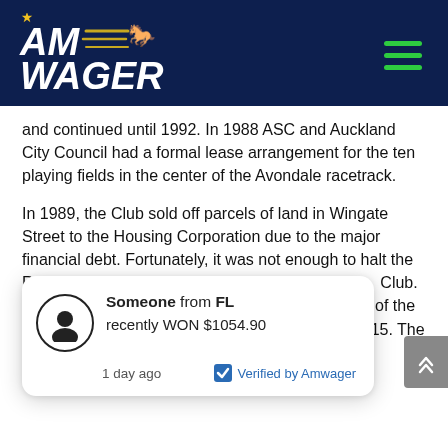AmWager logo and navigation header
and continued until 1992. In 1988 ASC and Auckland City Council had a formal lease arrangement for the ten playing fields in the center of the Avondale racetrack.
In 1989, the Club sold off parcels of land in Wingate Street to the Housing Corporation due to the major financial debt. Fortunately, it was not enough to halt the Racing Authority from assuming interim [Club. Then [ed again with [t of the land to [divided in 2014 and sold in 2015. The money is for the future upgrade
[Figure (infographic): Notification popup: Someone from FL recently WON $1054.90. 1 day ago. Verified by Amwager.]